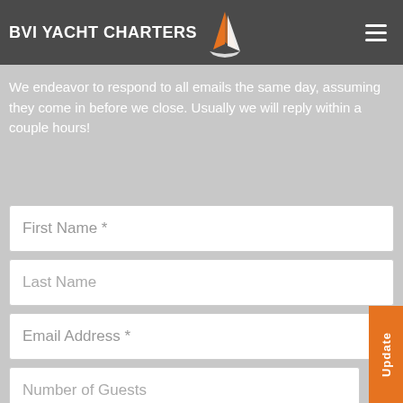BVI YACHT CHARTERS
We endeavor to respond to all emails the same day, assuming they come in before we close. Usually we will reply within a couple hours!
First Name *
Last Name
Email Address *
Number of Guests
Type of Yacht